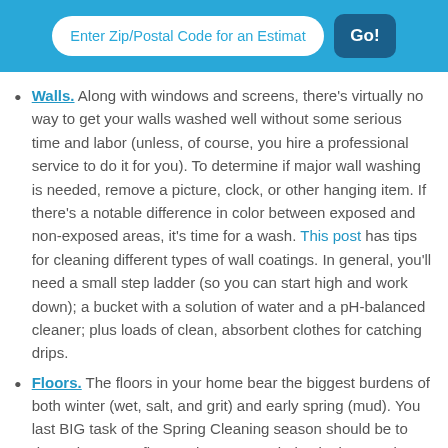Enter Zip/Postal Code for an Estimat  Go!
Walls. Along with windows and screens, there's virtually no way to get your walls washed well without some serious time and labor (unless, of course, you hire a professional service to do it for you). To determine if major wall washing is needed, remove a picture, clock, or other hanging item. If there's a notable difference in color between exposed and non-exposed areas, it's time for a wash. This post has tips for cleaning different types of wall coatings. In general, you'll need a small step ladder (so you can start high and work down); a bucket with a solution of water and a pH-balanced cleaner; plus loads of clean, absorbent clothes for catching drips.
Floors. The floors in your home bear the biggest burdens of both winter (wet, salt, and grit) and early spring (mud). You last BIG task of the Spring Cleaning season should be to deep clean your floors, plus any needed stripping, waxing, and re-sealing (definitely do floors afterwalls). For tools...